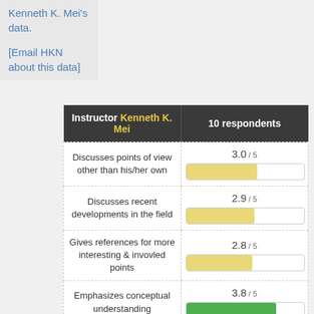Kenneth K. Mei's data.
[Email HKN about this data]
| Instructor Kenneth K. Mei | 10 respondents |
| --- | --- |
| Discusses points of view other than his/her own | 3.0 / 5 |
| Discusses recent developments in the field | 2.9 / 5 |
| Gives references for more interesting & invovled points | 2.8 / 5 |
| Emphasizes conceptual understanding | 3.8 / 5 |